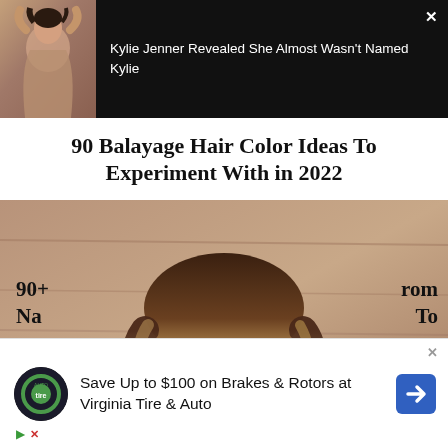[Figure (photo): Celebrity woman in beige halter top against dark background]
Kylie Jenner Revealed She Almost Wasn t Named Kylie
90 Balayage Hair Color Ideas To Experiment With in 2022
[Figure (photo): Smiling young woman with balayage wavy hair and green eyes against wooden wall background]
90+
Na
rom
To
Save Up to $100 on Brakes & Rotors at Virginia Tire & Auto